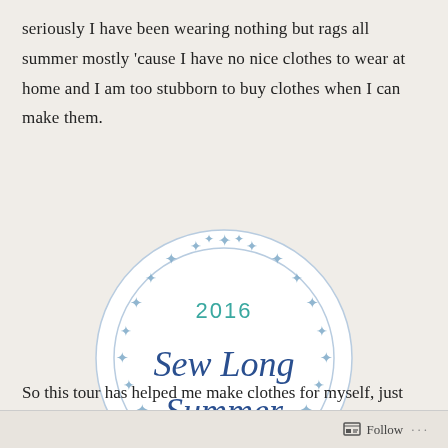seriously I have been wearing nothing but rags all summer mostly 'cause I have no nice clothes to wear at home and I am too stubborn to buy clothes when I can make them.
[Figure (illustration): A circular badge/logo with a ring of blue stars around the border. Inside it reads '2016' at the top in teal, then 'Sew Long Summer' in large dark blue handwritten-style font, and 'BLOG TOUR' in smaller spaced blue capital letters at the bottom.]
So this tour has helped me make clothes for myself, just regular
Follow